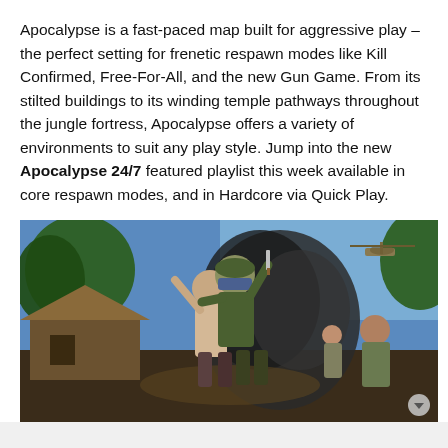Apocalypse is a fast-paced map built for aggressive play – the perfect setting for frenetic respawn modes like Kill Confirmed, Free-For-All, and the new Gun Game. From its stilted buildings to its winding temple pathways throughout the jungle fortress, Apocalypse offers a variety of environments to suit any play style. Jump into the new Apocalypse 24/7 featured playlist this week available in core respawn modes, and in Hardcore via Quick Play.
[Figure (photo): Screenshot from a Call of Duty-style video game showing soldiers in close combat in a jungle/village environment. A soldier in green raises a knife while grappling with another character. Smoke, explosions, a helicopter, and trees are visible in the background.]